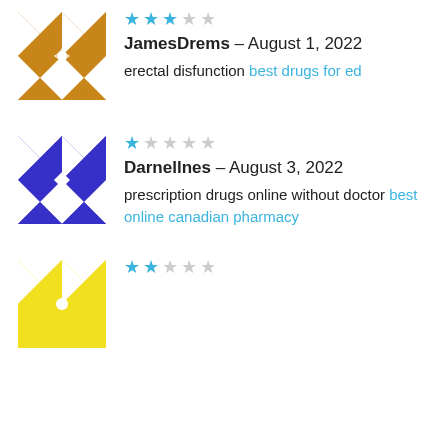[Figure (illustration): Orange geometric patterned avatar square with white star/cross motifs]
★★★☆☆ JamesDrems – August 1, 2022
errectal disfunction best drugs for ed
[Figure (illustration): Purple geometric patterned avatar square with white star/cross/diamond motifs]
★☆☆☆☆ Darnellnes – August 3, 2022
prescription drugs online without doctor best online canadian pharmacy
[Figure (illustration): Yellow geometric patterned avatar square with white star/cross motifs (partially visible)]
★★☆☆☆